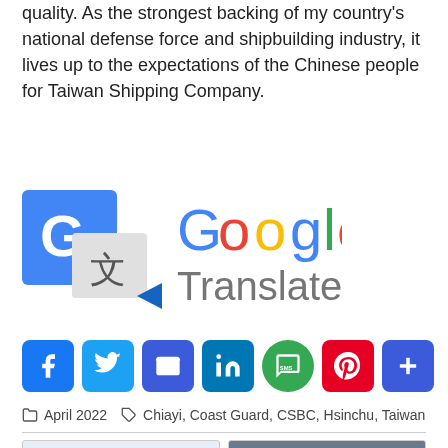quality. As the strongest backing of my country's national defense force and shipbuilding industry, it lives up to the expectations of the Chinese people for Taiwan Shipping Company.
[Figure (logo): Google Translate logo with the Google 'G' icon and translate arrows on the left, and the text 'Google Translate' on the right]
[Figure (infographic): Social media sharing buttons: Facebook, Twitter, Email, LinkedIn, SMS, Pinterest, and a Plus/share button]
April 2022   Chiayi, Coast Guard, CSBC, Hsinchu, Taiwan